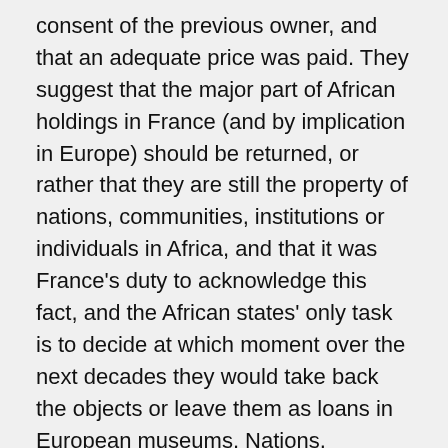consent of the previous owner, and that an adequate price was paid. They suggest that the major part of African holdings in France (and by implication in Europe) should be returned, or rather that they are still the property of nations, communities, institutions or individuals in Africa, and that it was France's duty to acknowledge this fact, and the African states' only task is to decide at which moment over the next decades they would take back the objects or leave them as loans in European museums. Nations, communities, institutions or individuals are here being subsumed by and represented through the state, and not acting on their own behalf––a legal and political assumption with farreaching implications. The authors of the report consider other forms of collaboration as inadequate and basically unacceptable unless the objects have been returned at least in principle. The return alone corroborates the acknowledgement of past wrongs and the intention to engage in a process that would heal the wounds inflicted by European colonialism.